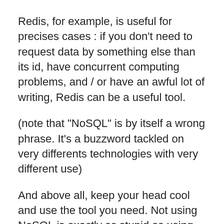Redis, for example, is useful for precises cases : if you don't need to request data by something else than its id, have concurrent computing problems, and / or have an awful lot of writing, Redis can be a useful tool.
(note that "NoSQL" is by itself a wrong phrase. It's a buzzword tackled on very differents technologies with very different use)
And above all, keep your head cool and use the tool you need. Not using NoSQL is exactly as stupid as using only NoSQL. Do you stop using your car because you can